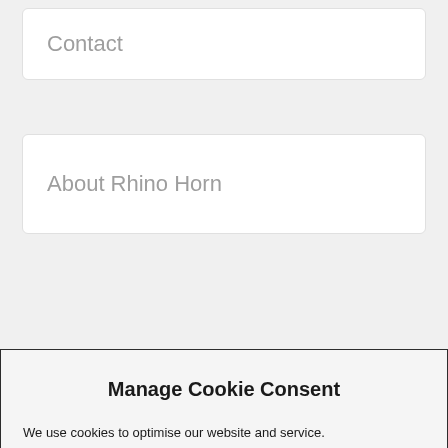Contact
About Rhino Horn
Manage Cookie Consent
We use cookies to optimise our website and service.
Accept
Deny
Preferences